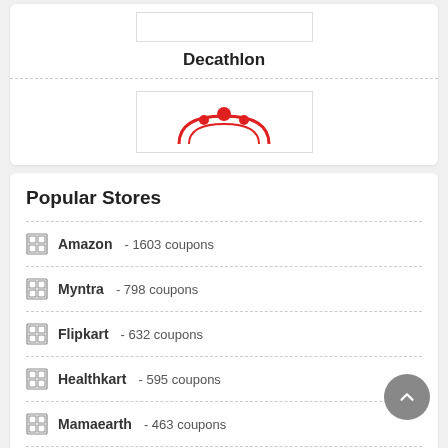[Figure (logo): Decathlon store logo placeholder box]
Decathlon
[Figure (logo): The Souled Store logo in red]
Popular Stores
Amazon - 1603 coupons
Myntra - 798 coupons
Flipkart - 632 coupons
Healthkart - 595 coupons
Mamaearth - 463 coupons
Beardo - 454 coupons